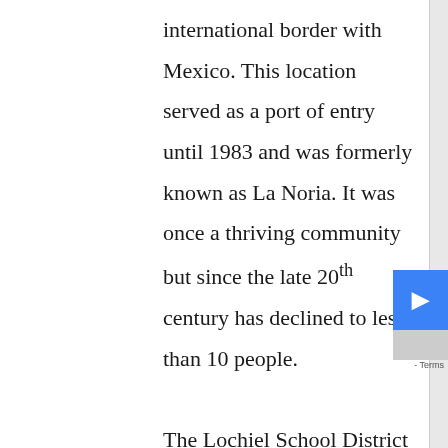international border with Mexico. This location served as a port of entry until 1983 and was formerly known as La Noria. It was once a thriving community but since the late 20th century has declined to less than 10 people.

The Lochiel School District can be traced back to 1882 when it was known as the La Noria School District. The schoolhouse building was deeded to the school district in 1911 by Clotilde Carey who owned the homestead where